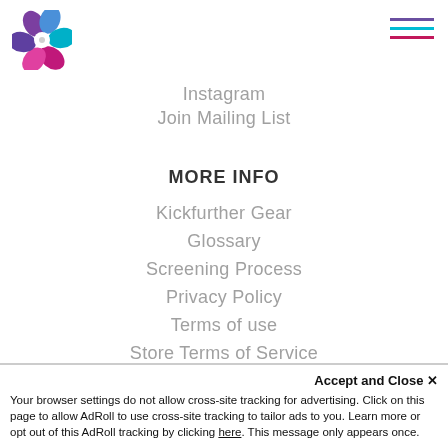[Figure (logo): Colorful flower-like logo with purple, blue, magenta petals and a white center dot]
Instagram
Join Mailing List
MORE INFO
Kickfurther Gear
Glossary
Screening Process
Privacy Policy
Terms of use
Store Terms of Service
Help Center
Accept and Close ✕
Your browser settings do not allow cross-site tracking for advertising. Click on this page to allow AdRoll to use cross-site tracking to tailor ads to you. Learn more or opt out of this AdRoll tracking by clicking here. This message only appears once.